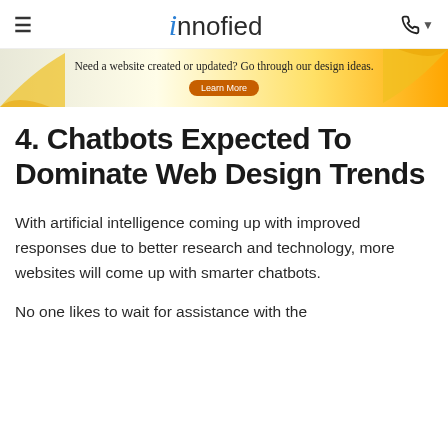≡  innofied  📞 ▾
[Figure (illustration): Advertisement banner with yellow/gold swoosh design: 'Need a website created or updated? Go through our design ideas. Learn More']
4. Chatbots Expected To Dominate Web Design Trends
With artificial intelligence coming up with improved responses due to better research and technology, more websites will come up with smarter chatbots.
No one likes to wait for assistance with the